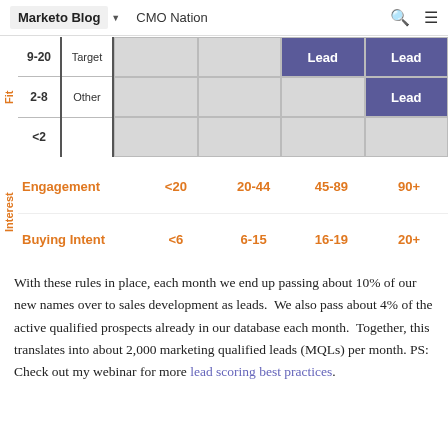Marketo Blog | CMO Nation
| Fit Score | Type | Col1 | Col2 | Col3 | Col4 |
| --- | --- | --- | --- | --- | --- |
| 9-20 | Target |  |  | Lead | Lead |
| 2-8 | Other |  |  |  | Lead |
| <2 |  |  |  |  |  |
|  | Engagement | <20 | 20-44 | 45-89 | 90+ |
| --- | --- | --- | --- | --- | --- |
| Interest | Buying Intent | <6 | 6-15 | 16-19 | 20+ |
With these rules in place, each month we end up passing about 10% of our new names over to sales development as leads.  We also pass about 4% of the active qualified prospects already in our database each month.  Together, this translates into about 2,000 marketing qualified leads (MQLs) per month. PS: Check out my webinar for more lead scoring best practices.